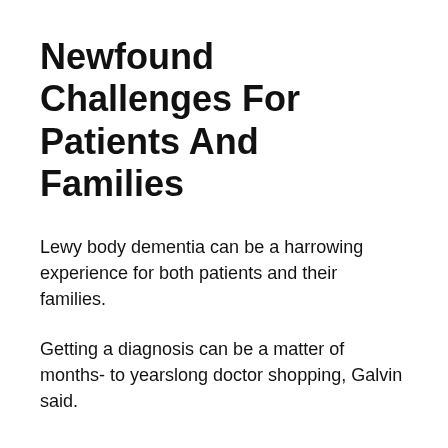Newfound Challenges For Patients And Families
Lewy body dementia can be a harrowing experience for both patients and their families.
Getting a diagnosis can be a matter of months- to yearslong doctor shopping, Galvin said.